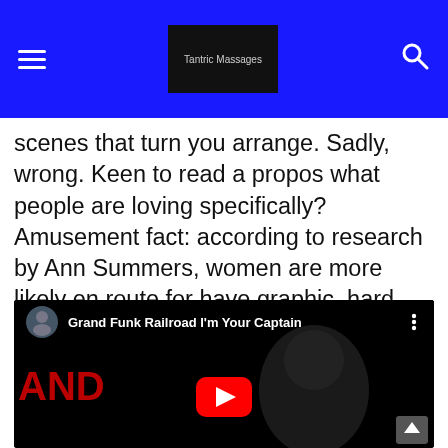Tantric Massages
scenes that turn you arrange. Sadly, wrong. Keen to read a propos what people are loving specifically? Amusement fact: according to research by Ann Summers, women are more likely en route for have graphic, hard-core fantasies than men. The divide has been attributed en route for the fact that men are by and large more visual — and find bareness an adequate trigger alone. While we all have fantasies, we never appear to discuss them.
[Figure (screenshot): YouTube video embed showing 'Grand Funk Railroad I'm Your Captain' with play button, red side text, and dark background]